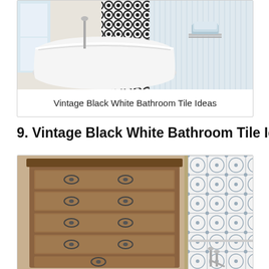[Figure (photo): A clawfoot bathtub in a white bathroom with black and white patterned shower curtain on the left, chrome fixtures, and a chrome shelf with folded towels on the right. White beadboard walls.]
Vintage Black White Bathroom Tile Ideas
9. Vintage Black White Bathroom Tile Ideas
[Figure (photo): Left half: a wooden dresser with ornate metal drawer pulls. Right half: a white bathroom with decorative geometric tile pattern on the wall and chrome faucet fixtures.]